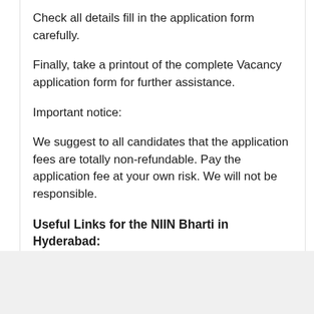Check all details fill in the application form carefully.
Finally, take a printout of the complete Vacancy application form for further assistance.
Important notice:
We suggest to all candidates that the application fees are totally non-refundable. Pay the application fee at your own risk. We will not be responsible.
Useful Links for the NIIN Bharti in Hyderabad: